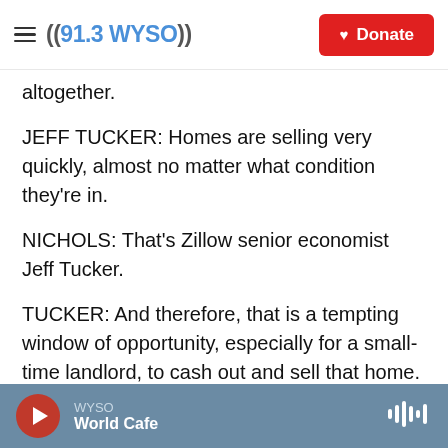((91.3 WYSO)) Donate
altogether.
JEFF TUCKER: Homes are selling very quickly, almost no matter what condition they're in.
NICHOLS: That's Zillow senior economist Jeff Tucker.
TUCKER: And therefore, that is a tempting window of opportunity, especially for a small-time landlord, to cash out and sell that home.
NICHOLS: Those sales are happening, but not to
WYSO World Cafe